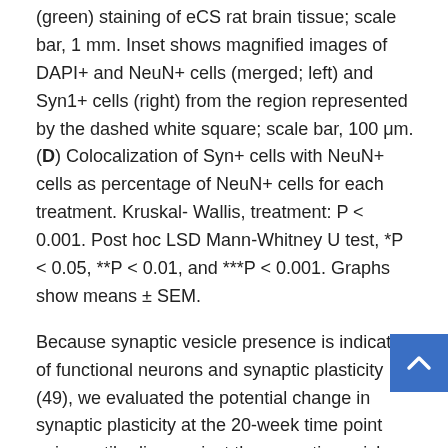(green) staining of eCS rat brain tissue; scale bar, 1 mm. Inset shows magnified images of DAPI+ and NeuN+ cells (merged; left) and Syn1+ cells (right) from the region represented by the dashed white square; scale bar, 100 μm. (D) Colocalization of Syn+ cells with NeuN+ cells as percentage of NeuN+ cells for each treatment. Kruskal-Wallis, treatment: P < 0.001. Post hoc LSD Mann-Whitney U test, *P < 0.05, **P < 0.01, and ***P < 0.001. Graphs show means ± SEM.
Because synaptic vesicle presence is indicative of functional neurons and synaptic plasticity (49), we evaluated the potential change in synaptic plasticity at the 20-week time point using antibodies against the synaptic vesicle marker synaptophysin I (Syn; Fig. 3C). We observed a significant increase in Syn1+ signal in both DAPI+ (P = 0.014; fig. S5, A to D) and NeuN+ cells (Fig. 3D) in eCS matrix–implanted animals when compared to Sham and TBI-only rats.